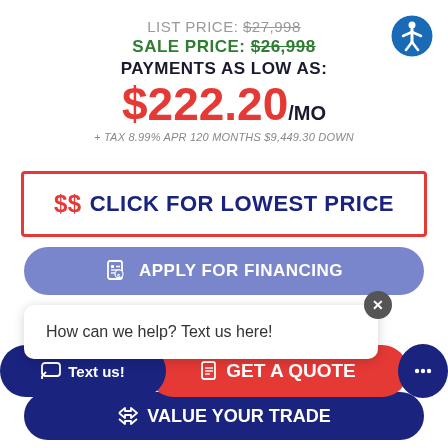LIST PRICE: $27,998
SALE PRICE: $26,998
PAYMENTS AS LOW AS:
$222.20/MO
+ TAX 8.99% APR 120 MONTHS $9,449.30 DOWN
$$ CLICK FOR LOWEST PRICE
APPLY FOR FINANCING
How can we help? Text us here!
Text us!
GET A QUOTE
VALUE YOUR TRADE